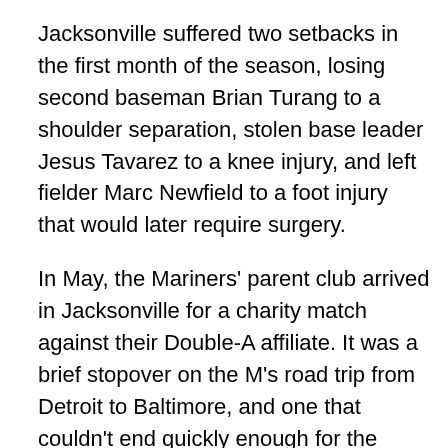Jacksonville suffered two setbacks in the first month of the season, losing second baseman Brian Turang to a shoulder separation, stolen base leader Jesus Tavarez to a knee injury, and left fielder Marc Newfield to a foot injury that would later require surgery.
In May, the Mariners' parent club arrived in Jacksonville for a charity match against their Double-A affiliate. It was a brief stopover on the M's road trip from Detroit to Baltimore, and one that couldn't end quickly enough for the team. The Suns knocked in nine runs against Seattle starters Rich DeLucia and Dave Fleming, while Jacksonville's Jim Gutierrez, Eric Gunderson, Brent Knackert, and Marcos Garcia held their major league counterparts to just five hits in the 9-0 shutout. It would prove to be one of the sole highlights for the Suns, who placed third in the division